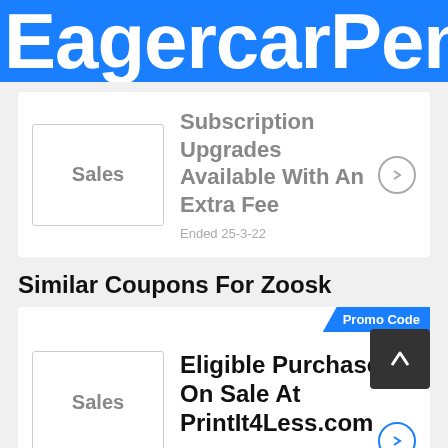EagercarPent
Sales
Subscription Upgrades Available With An Extra Fee
Ended 25-3-22
Similar Coupons For Zoosk
Promo Code
Sales
Eligible Purchases On Sale At PrintIt4Less.com
Ends 23-11-22